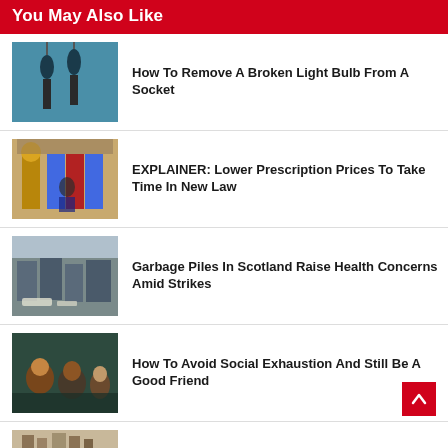You May Also Like
[Figure (photo): Photo of pendant light bulbs hanging against a blue background]
How To Remove A Broken Light Bulb From A Socket
[Figure (photo): Photo of politicians with US flags and Presidential seal]
EXPLAINER: Lower Prescription Prices To Take Time In New Law
[Figure (photo): Photo of garbage piles in a Scottish city street]
Garbage Piles In Scotland Raise Health Concerns Amid Strikes
[Figure (photo): Photo of group of friends laughing together outdoors]
How To Avoid Social Exhaustion And Still Be A Good Friend
[Figure (photo): Partially visible photo at bottom of page]